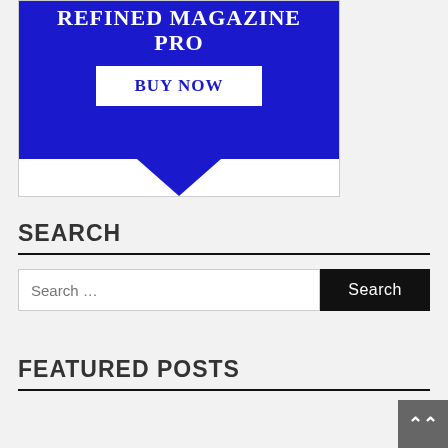[Figure (illustration): Refined Magazine Pro banner with blue background. Bold white serif text reading 'REFINED MAGAZINE PRO' with a white 'BUY NOW' button. Bottom section shows a triangular white shape pointing up against the blue.]
SEARCH
Search …
FEATURED POSTS